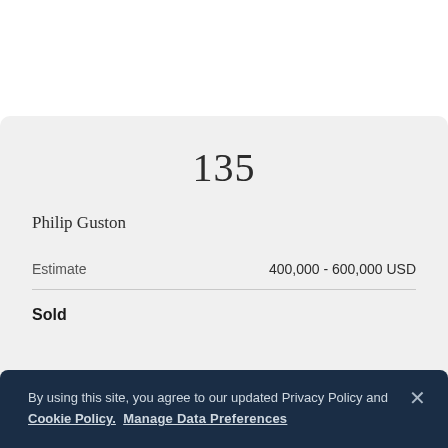135
Philip Guston
| Estimate | 400,000 - 600,000 USD |
| --- | --- |
Sold
By using this site, you agree to our updated Privacy Policy and Cookie Policy. Manage Data Preferences